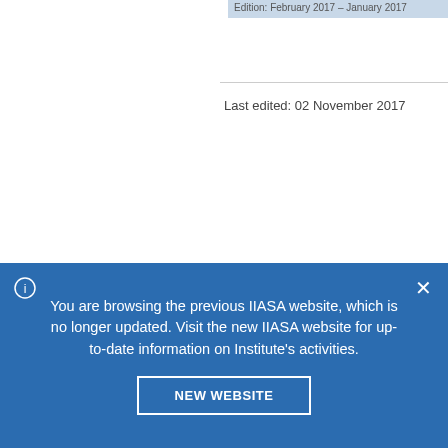Last edited: 02 November 2017
You are browsing the previous IIASA website, which is no longer updated. Visit the new IIASA website for up-to-date information on Institute's activities.
NEW WEBSITE